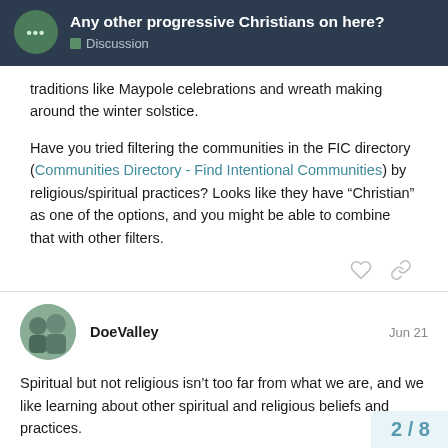Any other progressive Christians on here? Discussion
traditions like Maypole celebrations and wreath making around the winter solstice.
Have you tried filtering the communities in the FIC directory (Communities Directory - Find Intentional Communities) by religious/spiritual practices? Looks like they have “Christian” as one of the options, and you might be able to combine that with other filters.
DoeValue Jun 21
Spiritual but not religious isn’t too far from what we are, and we like learning about other spiritual and religious beliefs and practices.
I have used search filters and know about som communities. We don’t really want to move th
2 / 8